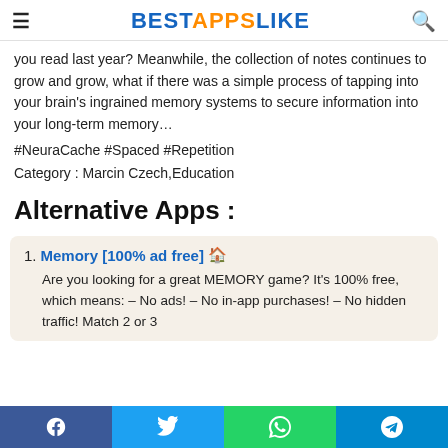BESTAPPSLIKE
you read last year? Meanwhile, the collection of notes continues to grow and grow, what if there was a simple process of tapping into your brain's ingrained memory systems to secure information into your long-term memory…
#NeuraCache #Spaced #Repetition
Category : Marcin Czech,Education
Alternative Apps :
1. Memory [100% ad free] 🏠
Are you looking for a great MEMORY game? It's 100% free, which means: – No ads! – No in-app purchases! – No hidden traffic! Match 2 or 3
Facebook Twitter WhatsApp Telegram